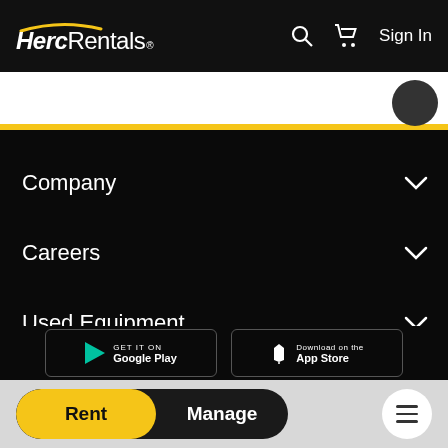HercRentals — Sign In
Company
Careers
Used Equipment
Support
[Figure (screenshot): App store buttons: GET IT ON Google Play and Download on the Apple App Store]
Rent  Manage